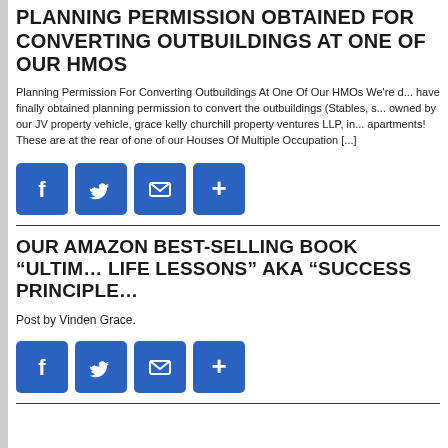PLANNING PERMISSION OBTAINED FOR CONVERTING OUTBUILDINGS AT ONE OF OUR HMOS
Planning Permission For Converting Outbuildings At One Of Our HMOs We're d... have finally obtained planning permission to convert the outbuildings (Stables, s... owned by our JV property vehicle, grace kelly churchill property ventures LLP, in... apartments! These are at the rear of one of our Houses Of Multiple Occupation [...]
[Figure (infographic): Row of four blue social share buttons: Facebook, Twitter, Email, More (+)]
OUR AMAZON BEST-SELLING BOOK “ULTIM... LIFE LESSONS” AKA “SUCCESS PRINCIPLE...
Post by Vinden Grace.
[Figure (infographic): Row of four blue social share buttons: Facebook, Twitter, Email, More (+)]